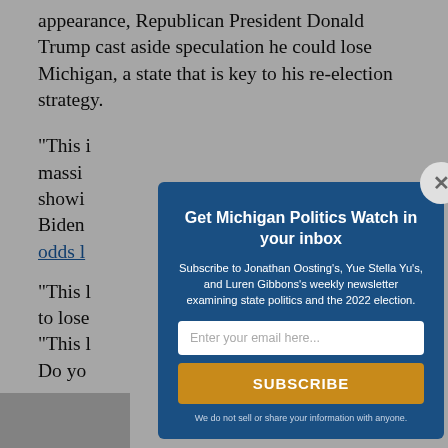appearance, Republican President Donald Trump cast aside speculation he could lose Michigan, a state that is key to his re-election strategy.
"This i... massi... showi... Biden... odds ...
"This ... to lose... "This ... Do yo...
[Figure (screenshot): Modal newsletter signup overlay for Michigan Politics Watch. Dark blue background with title 'Get Michigan Politics Watch in your inbox', subtitle about subscribing to Jonathan Oosting's, Yue Stella Yu's, and Luren Gibbons's weekly newsletter examining state politics and the 2022 election. Email input field, orange SUBSCRIBE button, privacy note.]